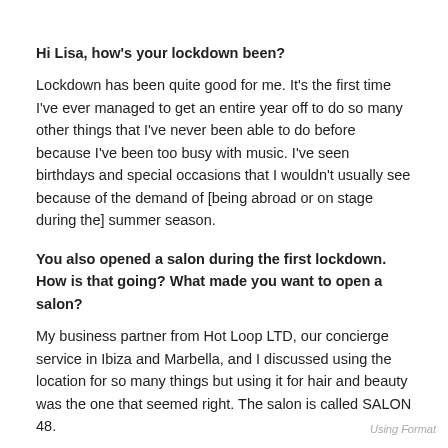Hi Lisa, how's your lockdown been?
Lockdown has been quite good for me. It's the first time I've ever managed to get an entire year off to do so many other things that I've never been able to do before because I've been too busy with music. I've seen birthdays and special occasions that I wouldn't usually see because of the demand of [being abroad or on stage during the] summer season.
You also opened a salon during the first lockdown. How is that going? What made you want to open a salon?
My business partner from Hot Loop LTD, our concierge service in Ibiza and Marbella, and I discussed using the location for so many things but using it for hair and beauty was the one that seemed right. The salon is called SALON 48.
Have you found the past year inspiring for you as a musician or has it been hard to write and create music?
I found lockdown difficult to write music. I'm used to travelling and seeing wonderful things and experiencing things on tour, and that all came to a stop for a whole year. So, it's been difficult to find inspiration while sitting